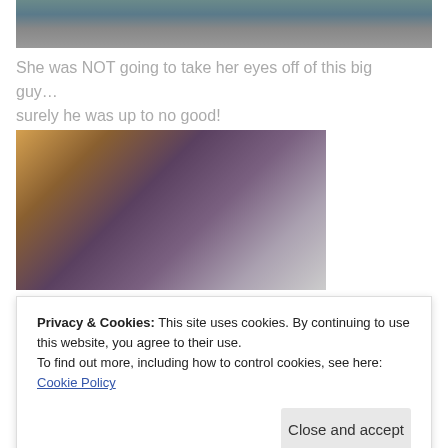[Figure (photo): Partial photo of a person, cropped at top of page]
She was NOT going to take her eyes off of this big guy… surely he was up to no good!
[Figure (photo): Photo of a living room scene with a person bending down and legs visible on a couch]
Privacy & Cookies: This site uses cookies. By continuing to use this website, you agree to their use.
To find out more, including how to control cookies, see here: Cookie Policy
Close and accept
[Figure (photo): Partial bottom photo, cropped]